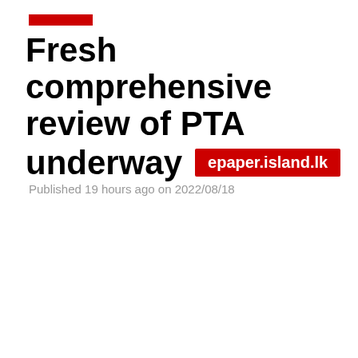epaper.island.lk
Fresh comprehensive review of PTA underway
Published 19 hours ago on 2022/08/18